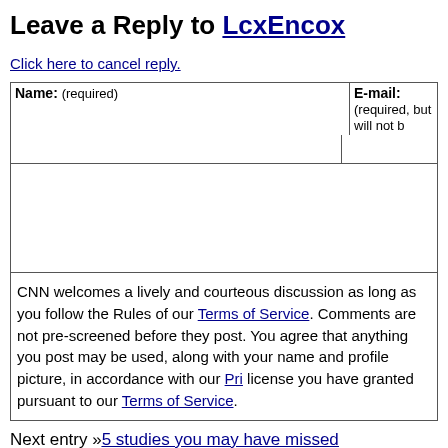Leave a Reply to LcxEncox
Click here to cancel reply.
| Name: (required) | E-mail: (required, but will not be published) |
| --- | --- |
|  |  |
CNN welcomes a lively and courteous discussion as long as you follow the Rules of our Terms of Service. Comments are not pre-screened before they post. You agree that anything you post may be used, along with your name and profile picture, in accordance with our Privacy Policy and the license you have granted pursuant to our Terms of Service.
Next entry »5 studies you may have missed
« Previous entryTestosterone treatment could be dangerous to the hea